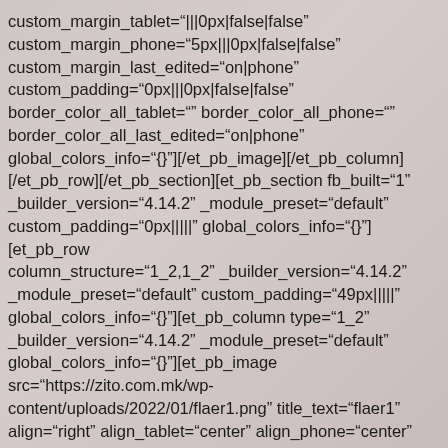custom_margin_tablet="|||0px|false|false"
custom_margin_phone="5px|||0px|false|false"
custom_margin_last_edited="on|phone"
custom_padding="0px|||0px|false|false"
border_color_all_tablet="" border_color_all_phone=""
border_color_all_last_edited="on|phone"
global_colors_info="{}"][/et_pb_image][/et_pb_column]
[/et_pb_row][/et_pb_section][et_pb_section fb_built="1"
_builder_version="4.14.2" _module_preset="default"
custom_padding="0px|||||" global_colors_info="{}"][et_pb_row
column_structure="1_2,1_2" _builder_version="4.14.2"
_module_preset="default" custom_padding="49px|||||"
global_colors_info="{}"][et_pb_column type="1_2"
_builder_version="4.14.2" _module_preset="default"
global_colors_info="{}"][et_pb_image
src="https://zito.com.mk/wp-content/uploads/2022/01/flaer1.png" title_text="flaer1"
align="right" align_tablet="center" align_phone="center"
align_last_edited="on|tablet" _builder_version="4.14.2"